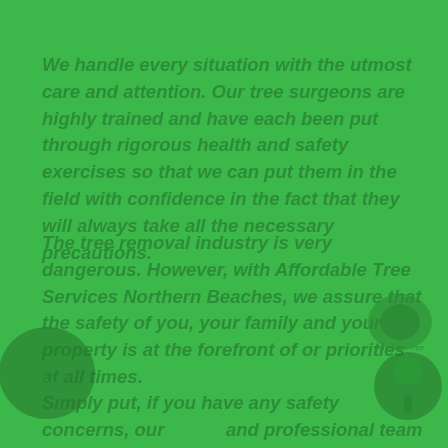We handle every situation with the utmost care and attention. Our tree surgeons are highly trained and have each been put through rigorous health and safety exercises so that we can put them in the field with confidence in the fact that they will always take all the necessary precautions.
The tree removal industry is very dangerous. However, with Affordable Tree Services Northern Beaches, we assure that the safety of you, your family and your property is at the forefront of or priorities at all times.
Simply put, if you have any safety concerns, our and professional team will put your mind at happily talk you through how they intend